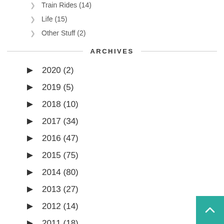Train Rides (14)
Life (15)
Other Stuff (2)
ARCHIVES
2020 (2)
2019 (5)
2018 (10)
2017 (34)
2016 (47)
2015 (75)
2014 (80)
2013 (27)
2012 (14)
2011 (18)